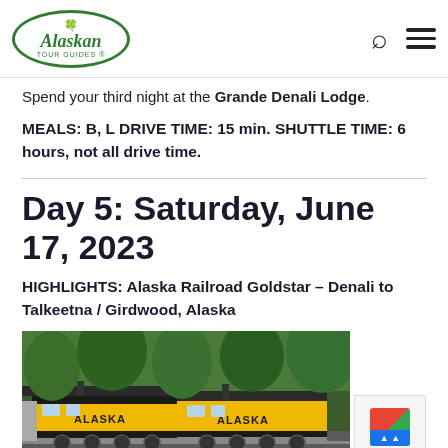Alaskan Tour Guides
Spend your third night at the Grande Denali Lodge.
MEALS: B, L DRIVE TIME: 15 min. SHUTTLE TIME: 6 hours, not all drive time.
Day 5: Saturday, June 17, 2023
HIGHLIGHTS: Alaska Railroad Goldstar – Denali to Talkeetna / Girdwood, Alaska
[Figure (photo): Alaska Railroad yellow and black locomotive train engines on tracks surrounded by green trees]